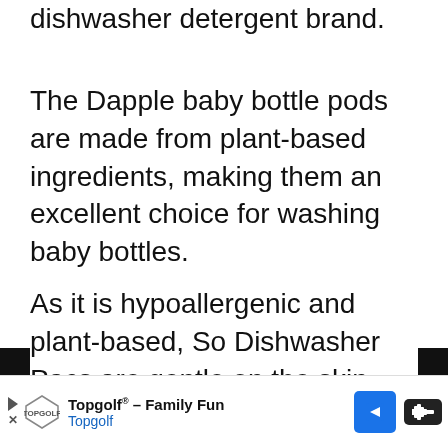dishwasher detergent brand.
The Dapple baby bottle pods are made from plant-based ingredients, making them an excellent choice for washing baby bottles.
As it is hypoallergenic and plant-based, So Dishwasher Pacs are gentle on the skin and free of harsh chemicals. They are also fragrance-free, so This product won't cause any irritation to the baby's delicate nose. The Pacs dissolve quickly in the dishwasher, so they are easy to
[Figure (other): Advertisement bar at bottom: Topgolf Family Fun ad with logo, navigation arrow icon, and mute button]